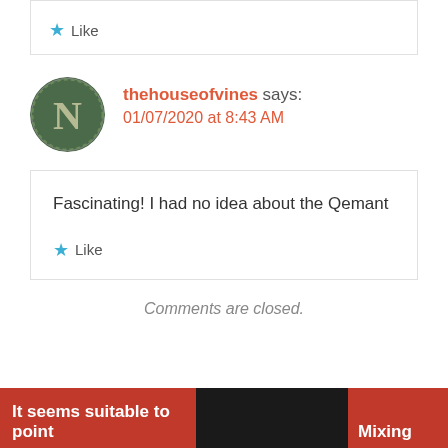★ Like
[Figure (illustration): Circular avatar with decorative letter N illustration on dark green background]
thehouseofvines says: 01/07/2020 at 8:43 AM
Fascinating! I had no idea about the Qemant
★ Like
Comments are closed.
It seems suitable to point
Mixing